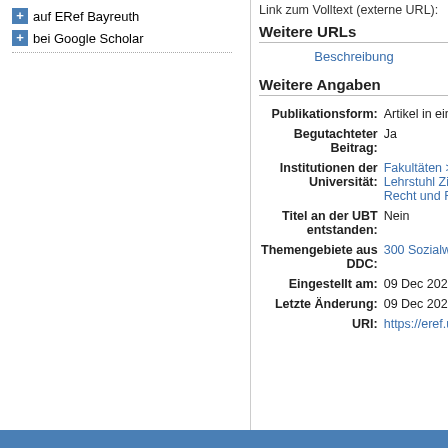auf ERef Bayreuth
bei Google Scholar
Link zum Volltext (externe URL):
Weitere URLs
Beschreibung
Weitere Angaben
| Label | Value |
| --- | --- |
| Publikationsform: | Artikel in ein |
| Begutachteter Beitrag: | Ja |
| Institutionen der Universität: | Fakultäten > Lehrstuhl Zi Recht und R |
| Titel an der UBT entstanden: | Nein |
| Themengebiete aus DDC: | 300 Sozialw |
| Eingestellt am: | 09 Dec 2020 |
| Letzte Änderung: | 09 Dec 2020 |
| URI: | https://eref.u |